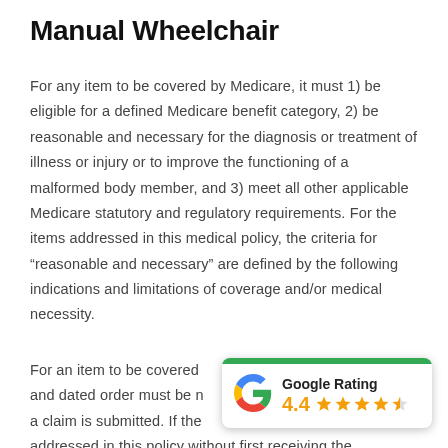Manual Wheelchair
For any item to be covered by Medicare, it must 1) be eligible for a defined Medicare benefit category, 2) be reasonable and necessary for the diagnosis or treatment of illness or injury or to improve the functioning of a malformed body member, and 3) meet all other applicable Medicare statutory and regulatory requirements. For the items addressed in this medical policy, the criteria for “reasonable and necessary” are defined by the following indications and limitations of coverage and/or medical necessity.
For an item to be covered and dated order must be n a claim is submitted. If the addressed in this policy without first receiving the
[Figure (other): Google Rating card showing 4.4 stars out of 5 with orange star icons and a green top bar]